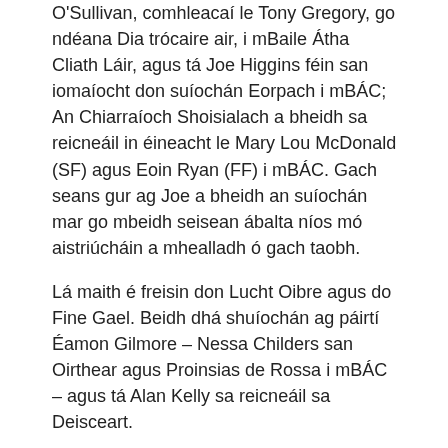O'Sullivan, comhleacaí le Tony Gregory, go ndéana Dia trócaire air, i mBaile Átha Cliath Láir, agus tá Joe Higgins féin san iomaíocht don suíochán Eorpach i mBÁC; An Chiarraíoch Shoisialach a bheidh sa reicneáil in éineacht le Mary Lou McDonald (SF) agus Eoin Ryan (FF) i mBÁC. Gach seans gur ag Joe a bheidh an suíochán mar go mbeidh seisean ábalta níos mó aistriúcháin a mhealladh ó gach taobh.
Lá maith é freisin don Lucht Oibre agus do Fine Gael. Beidh dhá shuíochán ag páirtí Éamon Gilmore – Nessa Childers san Oirthear agus Proinsias de Rossa i mBÁC – agus tá Alan Kelly sa reicneáil sa Deisceart.
Tá Fine Gael ag baint an Fhómhair anois ó na síolta a chuir Enda Kenny ón uair gur toghadh é i 2002. Tá cuma ar FG go bhféadfaidís bheith sa Rialtas – nó is páirtí atá ana éagsúil é ón pháirtí a bhí John Bruton ina cheannaire air.
An deacracht le na torthaí seo go mbeidh deis ag FF teacht